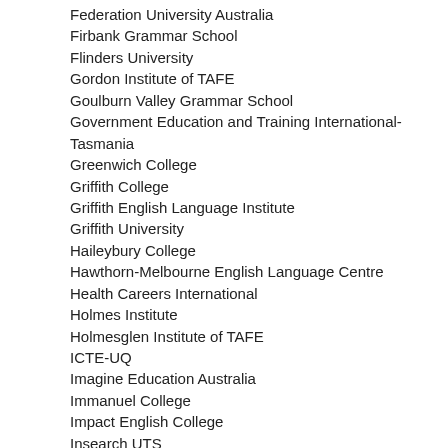Federation University Australia
Firbank Grammar School
Flinders University
Gordon Institute of TAFE
Goulburn Valley Grammar School
Government Education and Training International-Tasmania
Greenwich College
Griffith College
Griffith English Language Institute
Griffith University
Haileybury College
Hawthorn-Melbourne English Language Centre
Health Careers International
Holmes Institute
Holmesglen Institute of TAFE
ICTE-UQ
Imagine Education Australia
Immanuel College
Impact English College
Insearch UTS
Intensive English College
Intensive English Language Institute (IELI)
International College of Hotel Management
International College of Management, Sydney